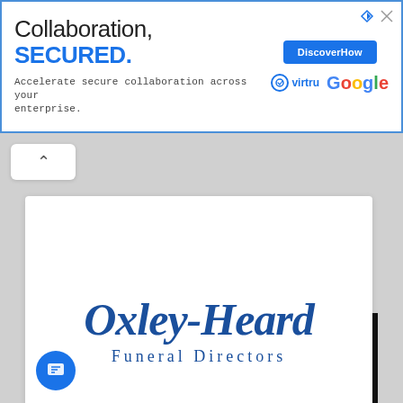[Figure (screenshot): Advertisement banner: 'Collaboration, SECURED. Accelerate secure collaboration across your enterprise.' with Virtru and Google logos and a 'Discover How' button.]
[Figure (logo): Oxley-Heard Funeral Directors logo in blue script and serif text on white card background.]
[Figure (photo): Steve Leimberg Fine Art Photography banner showing two pelicans on a dark background.]